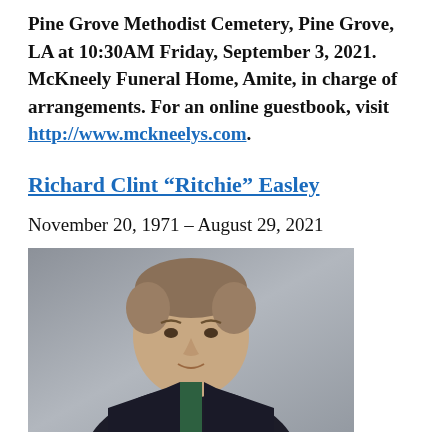Pine Grove Methodist Cemetery, Pine Grove, LA at 10:30AM Friday, September 3, 2021. McKneely Funeral Home, Amite, in charge of arrangements. For an online guestbook, visit http://www.mckneelys.com.
Richard Clint “Ritchie” Easley
November 20, 1971 – August 29, 2021
[Figure (photo): Portrait photograph of Richard Clint Ritchie Easley, a heavyset man with short light brown hair, wearing a dark suit jacket and dark shirt, photographed against a gray background.]